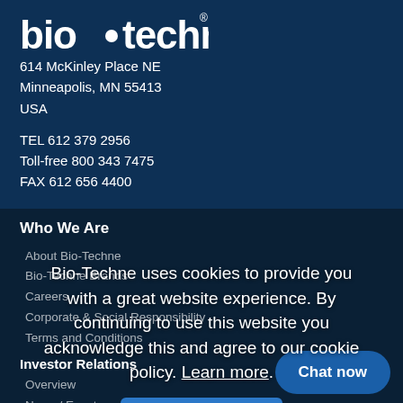[Figure (logo): bio-techne logo in white text on dark blue background]
614 McKinley Place NE
Minneapolis, MN 55413
USA
TEL 612 379 2956
Toll-free 800 343 7475
FAX 612 656 4400
Who We Are
About Bio-Techne
Bio-Techne Brands
Careers
Corporate & Social Responsibility
Terms and Conditions
Investor Relations
Overview
News / Events
Company Information
Bio-Techne uses cookies to provide you with a great website experience. By continuing to use this website you acknowledge this and agree to our cookie policy. Learn more.
I Agree
Chat now